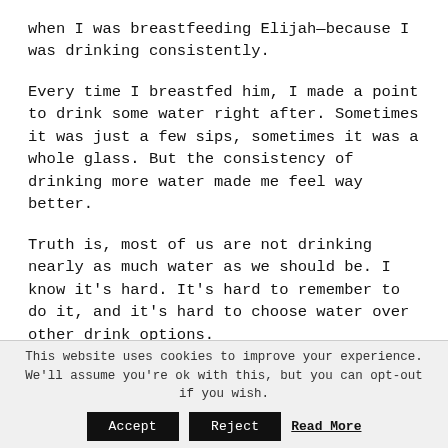when I was breastfeeding Elijah—because I was drinking consistently.
Every time I breastfed him, I made a point to drink some water right after. Sometimes it was just a few sips, sometimes it was a whole glass. But the consistency of drinking more water made me feel way better.
Truth is, most of us are not drinking nearly as much water as we should be. I know it's hard. It's hard to remember to do it, and it's hard to choose water over other drink options.
This website uses cookies to improve your experience. We'll assume you're ok with this, but you can opt-out if you wish. Accept Reject Read More